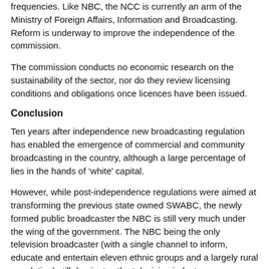frequencies. Like NBC, the NCC is currently an arm of the Ministry of Foreign Affairs, Information and Broadcasting. Reform is underway to improve the independence of the commission.
The commission conducts no economic research on the sustainability of the sector, nor do they review licensing conditions and obligations once licences have been issued.
Conclusion
Ten years after independence new broadcasting regulation has enabled the emergence of commercial and community broadcasting in the country, although a large percentage of lies in the hands of ‘white’ capital.
However, while post-independence regulations were aimed at transforming the previous state owned SWABC, the newly formed public broadcaster the NBC is still very much under the wing of the government. The NBC being the only television broadcaster (with a single channel to inform, educate and entertain eleven ethnic groups and a largely rural population) still dominates the television industry.
In summation, I wish to suggest that democratisation of media